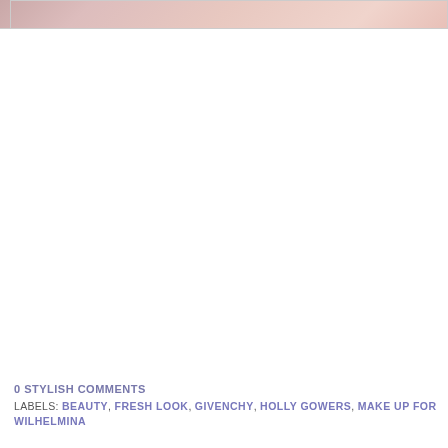[Figure (photo): Partial view of a woman's face and neck, close-up beauty/makeup photo, cropped at top of page]
0 STYLISH COMMENTS
LABELS: BEAUTY, FRESH LOOK, GIVENCHY, HOLLY GOWERS, MAKE UP FOR EVER, WILHELMINA